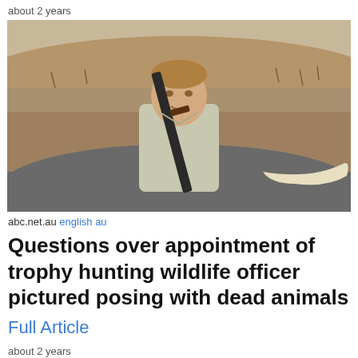about 2 years
[Figure (photo): Man in safari shirt holding a rifle, posing with what appears to be a dead elephant in an arid African landscape]
abc.net.au english au
Questions over appointment of trophy hunting wildlife officer pictured posing with dead animals
Full Article
about 2 years
[Figure (photo): Partial photo at bottom of page showing green vegetation]